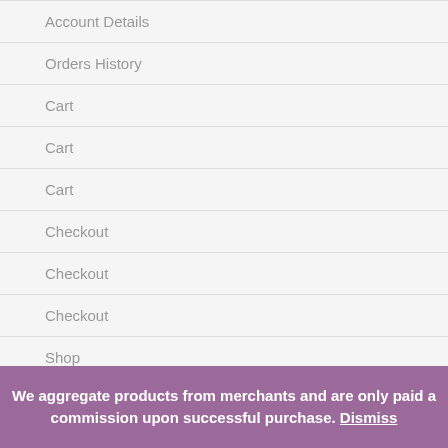Account Details
Orders History
Cart
Cart
Cart
Checkout
Checkout
Checkout
Shop
Shop
We aggregate products from merchants and are only paid a commission upon successful purchase. Dismiss